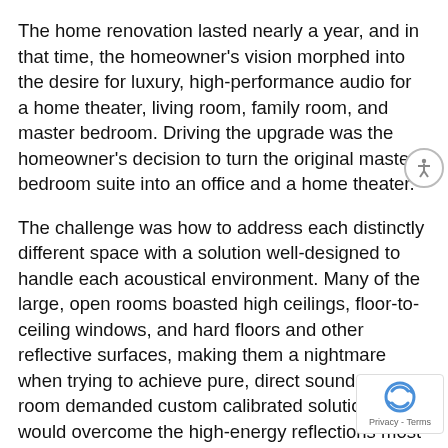The home renovation lasted nearly a year, and in that time, the homeowner's vision morphed into the desire for luxury, high-performance audio for a home theater, living room, family room, and master bedroom. Driving the upgrade was the homeowner's decision to turn the original master bedroom suite into an office and a home theater.
The challenge was how to address each distinctly different space with a solution well-designed to handle each acoustical environment. Many of the large, open rooms boasted high ceilings, floor-to-ceiling windows, and hard floors and other reflective surfaces, making them a nightmare when trying to achieve pure, direct sound. Each room demanded custom calibrated solutions that would overcome the high-energy reflections most audio solutions can create. Ryan Granko, owner of Granko Consulting, was brought in for his specific knowledge of cutting-edge, high-performance audio.The homeowners already knew they wanted to specifically install Wisdom Audio speaker solutions to get the best listening experience. Engineered with planar